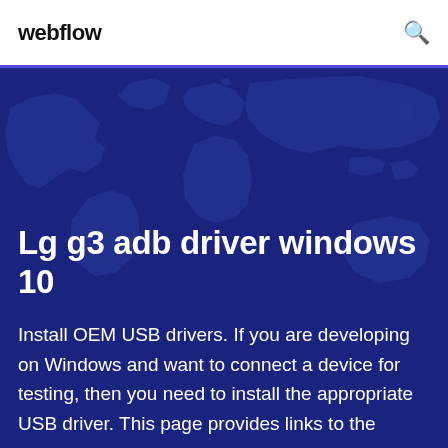webflow
Lg g3 adb driver windows 10
Install OEM USB drivers. If you are developing on Windows and want to connect a device for testing, then you need to install the appropriate USB driver. This page provides links to the